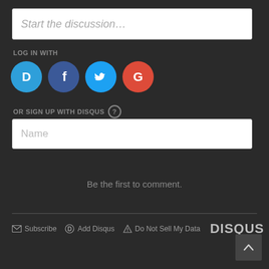Start the discussion…
LOG IN WITH
[Figure (illustration): Four social login icons: Disqus (blue speech bubble with D), Facebook (dark blue with f), Twitter (light blue with bird), Google (red with G)]
OR SIGN UP WITH DISQUS ?
Name
Be the first to comment.
Subscribe  Add Disqus  Do Not Sell My Data  DISQUS